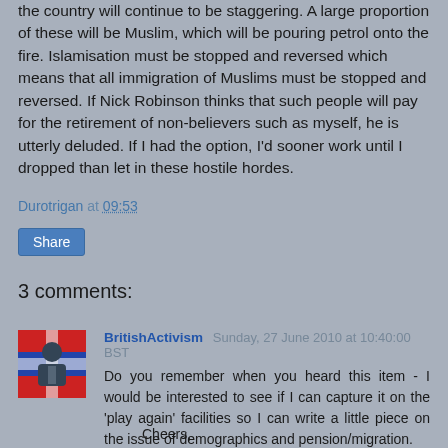the country will continue to be staggering. A large proportion of these will be Muslim, which will be pouring petrol onto the fire. Islamisation must be stopped and reversed which means that all immigration of Muslims must be stopped and reversed. If Nick Robinson thinks that such people will pay for the retirement of non-believers such as myself, he is utterly deluded. If I had the option, I'd sooner work until I dropped than let in these hostile hordes.
Durotrigan at 09:53
Share
3 comments:
[Figure (illustration): Small avatar image of a person in a suit with a flag background (British flag motif)]
BritishActivism Sunday, 27 June 2010 at 10:40:00 BST
Do you remember when you heard this item - I would be interested to see if I can capture it on the 'play again' facilities so I can write a little piece on the issue of demographics and pension/migration.

Cheers,